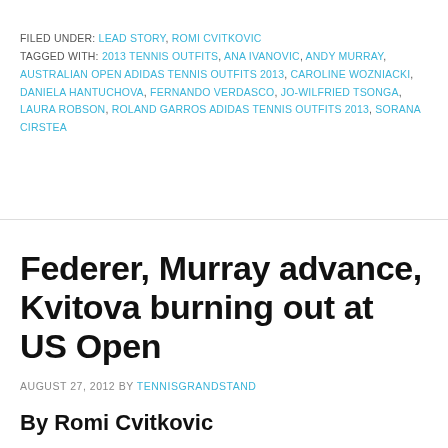FILED UNDER: LEAD STORY, ROMI CVITKOVIC
TAGGED WITH: 2013 TENNIS OUTFITS, ANA IVANOVIC, ANDY MURRAY, AUSTRALIAN OPEN ADIDAS TENNIS OUTFITS 2013, CAROLINE WOZNIACKI, DANIELA HANTUCHOVA, FERNANDO VERDASCO, JO-WILFRIED TSONGA, LAURA ROBSON, ROLAND GARROS ADIDAS TENNIS OUTFITS 2013, SORANA CIRSTEA
Federer, Murray advance, Kvitova burning out at US Open
AUGUST 27, 2012 BY TENNISGRANDSTAND
By Romi Cvitkovic